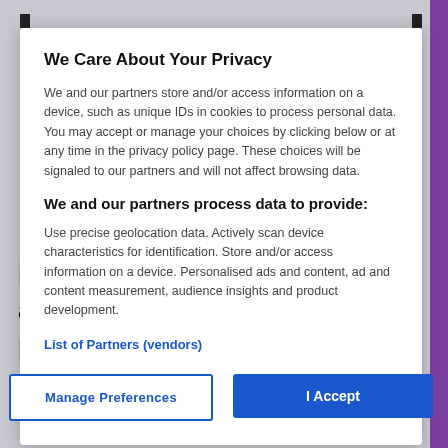We Care About Your Privacy
We and our partners store and/or access information on a device, such as unique IDs in cookies to process personal data. You may accept or manage your choices by clicking below or at any time in the privacy policy page. These choices will be signaled to our partners and will not affect browsing data.
We and our partners process data to provide:
Use precise geolocation data. Actively scan device characteristics for identification. Store and/or access information on a device. Personalised ads and content, ad and content measurement, audience insights and product development.
List of Partners (vendors)
increasing number of schools are diverting their pupil premium funding (PPF) into other areas, to compensate for the effects of budget cuts.